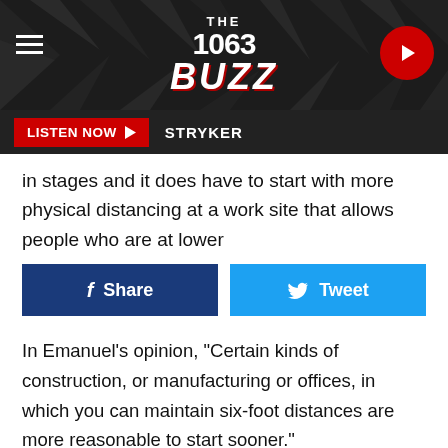THE 1063 BUZZ
LISTEN NOW  STRYKER
in stages and it does have to start with more physical distancing at a work site that allows people who are at lower
Share  Tweet
In Emanuel's opinion, "Certain kinds of construction, or manufacturing or offices, in which you can maintain six-foot distances are more reasonable to start sooner."
However, "Larger gatherings — conferences, concerts, sporting events — when people say they're going to reschedule this conference or graduation event for October 2020, I have no idea how they think that's a plausible possibility." He fast-notes Emanuel felt the answer will b